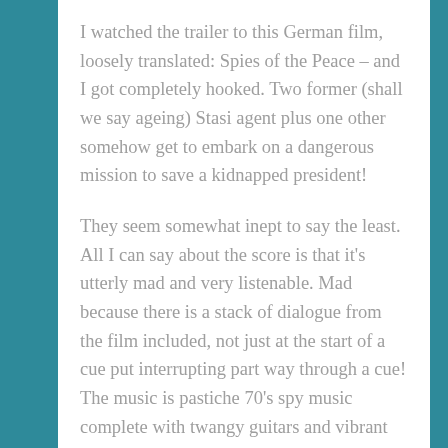I watched the trailer to this German film, loosely translated: Spies of the Peace – and I got completely hooked. Two former (shall we say ageing) Stasi agent plus one other somehow get to embark on a dangerous mission to save a kidnapped president!
They seem somewhat inept to say the least. All I can say about the score is that it's utterly mad and very listenable. Mad because there is a stack of dialogue from the film included, not just at the start of a cue put interrupting part way through a cue! The music is pastiche 70's spy music complete with twangy guitars and vibrant brass complete with 007 twinges.
It's fun, great fun and worth a listen if only for